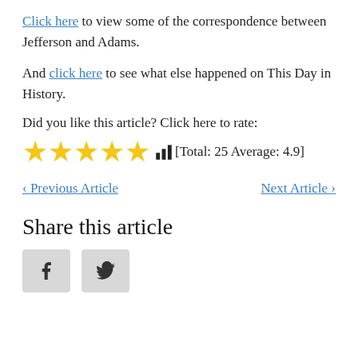Click here to view some of the correspondence between Jefferson and Adams.
And click here to see what else happened on This Day in History.
Did you like this article? Click here to rate: ★★★★★ [Total: 25 Average: 4.9]
< Previous Article   Next Article >
Share this article
[Figure (other): Facebook and Twitter social share buttons]